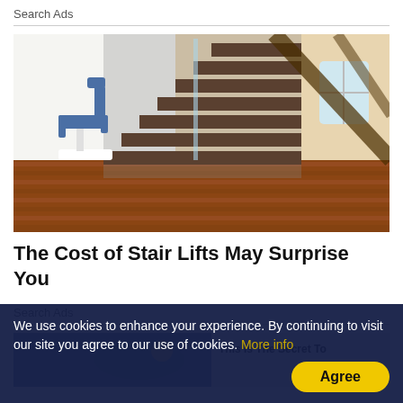Search Ads
[Figure (photo): A stair lift chair mounted at the bottom of a modern staircase with glass railing and dark wood steps. Hardwood floor visible.]
The Cost of Stair Lifts May Surprise You
Search Ads
[Figure (photo): Partial image showing a swimming figure and an advertisement overlay reading 'This Is The Secret To...']
We use cookies to enhance your experience. By continuing to visit our site you agree to our use of cookies. More info
Agree